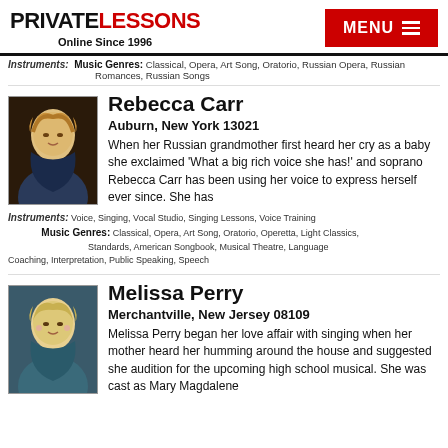PRIVATELESSONS Online Since 1996
Instruments: Music Genres: Classical, Opera, Art Song, Oratorio, Russian Opera, Russian Romances, Russian Songs
Rebecca Carr
Auburn, New York 13021
[Figure (photo): Headshot photo of Rebecca Carr, a blonde woman]
When her Russian grandmother first heard her cry as a baby she exclaimed 'What a big rich voice she has!' and soprano Rebecca Carr has been using her voice to express herself ever since. She has
Instruments: Voice, Singing, Vocal Studio, Singing Lessons, Voice Training Music Genres: Classical, Opera, Art Song, Oratorio, Operetta, Light Classics, Standards, American Songbook, Musical Theatre, Language Coaching, Interpretation, Public Speaking, Speech
Melissa Perry
Merchantville, New Jersey 08109
[Figure (photo): Headshot photo of Melissa Perry, a blonde woman]
Melissa Perry began her love affair with singing when her mother heard her humming around the house and suggested she audition for the upcoming high school musical. She was cast as Mary Magdalene